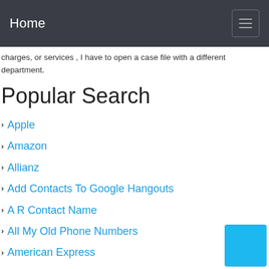Home
charges, or services , I have to open a case file with a different department.
Popular Search
Apple
Amazon
Allianz
Add Contacts To Google Hangouts
A R Contact Name
All My Old Phone Numbers
American Express
Accenture
Arlo Camera Support Phone Number